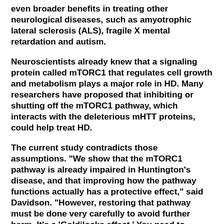even broader benefits in treating other neurological diseases, such as amyotrophic lateral sclerosis (ALS), fragile X mental retardation and autism.
Neuroscientists already knew that a signaling protein called mTORC1 that regulates cell growth and metabolism plays a major role in HD. Many researchers have proposed that inhibiting or shutting off the mTORC1 pathway, which interacts with the deleterious mHTT proteins, could help treat HD.
The current study contradicts those assumptions. "We show that the mTORC1 pathway is already impaired in Huntington's disease, and that improving how the pathway functions actually has a protective effect," said Davidson. "However, restoring that pathway must be done very carefully to avoid further harm. It's a 'Goldilocks effect.' You need to restore the mTORC1 level; either too much or too little is detrimental."